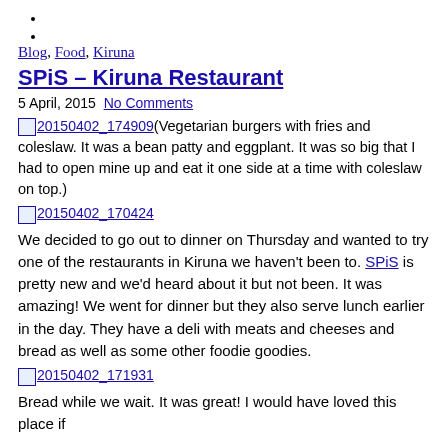Blog, Food, Kiruna
SPiS – Kiruna Restaurant
5 April, 2015  No Comments
[Figure (photo): Image placeholder: 20150402_174909]
(Vegetarian burgers with fries and coleslaw. It was a bean patty and eggplant. It was so big that I had to open mine up and eat it one side at a time with coleslaw on top.)
[Figure (photo): Image placeholder: 20150402_170424]
We decided to go out to dinner on Thursday and wanted to try one of the restaurants in Kiruna we haven't been to. SPiS is pretty new and we'd heard about it but not been. It was amazing! We went for dinner but they also serve lunch earlier in the day. They have a deli with meats and cheeses and bread as well as some other foodie goodies.
[Figure (photo): Image placeholder: 20150402_171931]
Bread while we wait. It was great! I would have loved this place if